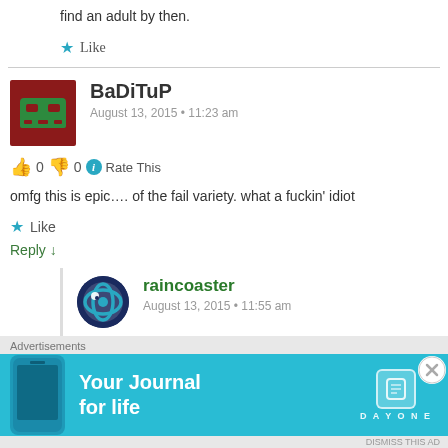find an adult by then.
★ Like
BaDiTuP
August 13, 2015 • 11:23 am
👍 0 👎 0 ℹ Rate This
omfg this is epic…. of the fail variety. what a fuckin' idiot
★ Like
Reply ↓
raincoaster
August 13, 2015 • 11:55 am
🙏 0 👊 0 ℹ Rate This
Advertisements
[Figure (other): Day One app advertisement banner with phone mockup and text 'Your Journal for life']